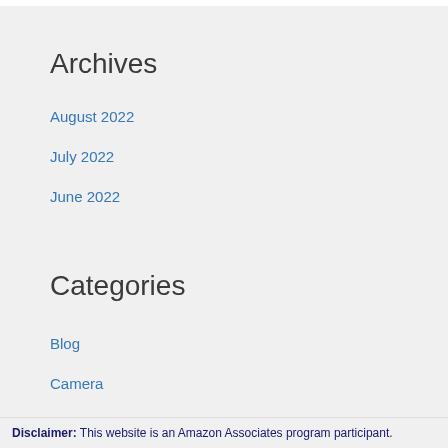Archives
August 2022
July 2022
June 2022
Categories
Blog
Camera
Disclaimer: This website is an Amazon Associates program participant.